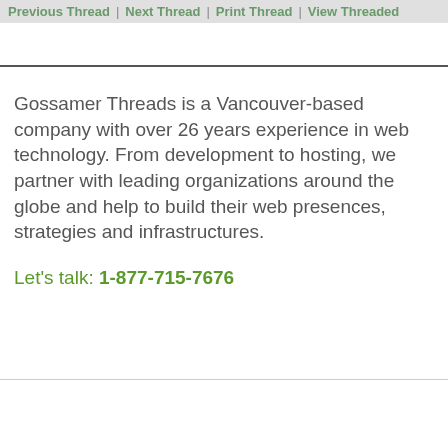Previous Thread | Next Thread | Print Thread | View Threaded
Gossamer Threads is a Vancouver-based company with over 26 years experience in web technology. From development to hosting, we partner with leading organizations around the globe and help to build their web presences, strategies and infrastructures.
Let's talk: 1-877-715-7676